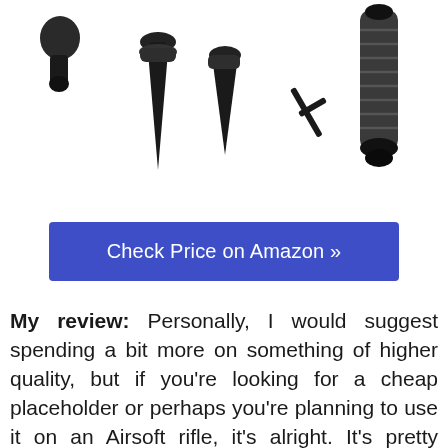[Figure (photo): Product photo showing black bipod accessories including rubber feet, spike tips, hex wrench, and a wrapped grip handle, all in black on white background]
Check Price on Amazon »
My review: Personally, I would suggest spending a bit more on something of higher quality, but if you're looking for a cheap placeholder or perhaps you're planning to use it on an Airsoft rifle, it's alright. It's pretty cheaply made, but for those of you on a super low budget, it at